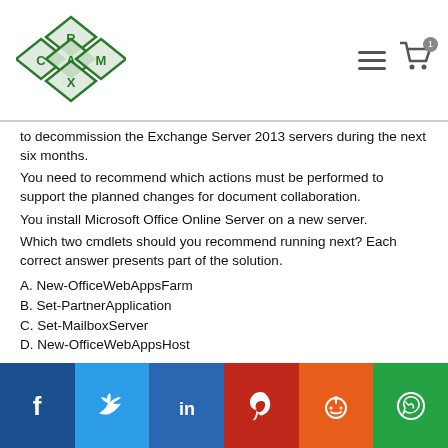CertExam logo and navigation
to decommission the Exchange Server 2013 servers during the next six months.
You need to recommend which actions must be performed to support the planned changes for document collaboration.
You install Microsoft Office Online Server on a new server.
Which two cmdlets should you recommend running next? Each correct answer presents part of the solution.
A. New-OfficeWebAppsFarm
B. Set-PartnerApplication
C. Set-MailboxServer
D. New-OfficeWebAppsHost
E. Set-OrganizationConfig
Correct Answer: AC
Social share buttons: Facebook, Twitter, LinkedIn, Pinterest, Reddit, WhatsApp